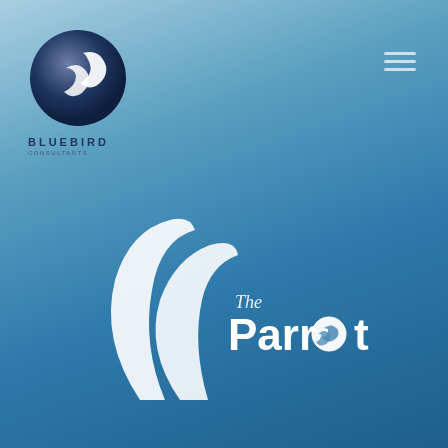[Figure (logo): Bluebird logo: dark navy circle with white bird/parrot silhouette, text BLUEBIRD below in dark navy spaced capitals, small subtitle text beneath]
[Figure (logo): The Parrot logo: large white stylized bird/parrot shape made of two curved feather-like strokes, with italic 'The' in small white script and 'Parrot' in large white bold text with a small bird icon replacing the 'o']